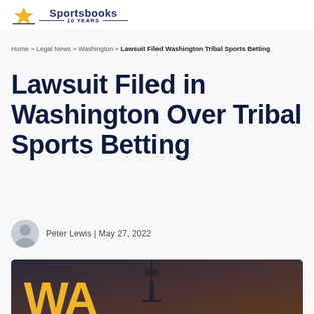Sportsbooks 10 YEARS
Home » Legal News » Washington » Lawsuit Filed Washington Tribal Sports Betting
Lawsuit Filed in Washington Over Tribal Sports Betting
Peter Lewis | May 27, 2022
[Figure (photo): Hero image showing dark moody sky with Seattle Space Needle silhouette and large gold WA letters at the bottom]